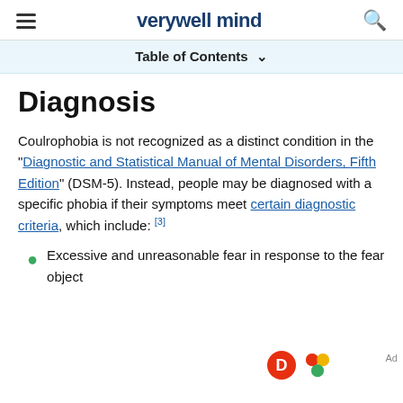verywell mind
Table of Contents
Diagnosis
Coulrophobia is not recognized as a distinct condition in the "Diagnostic and Statistical Manual of Mental Disorders, Fifth Edition" (DSM-5). Instead, people may be diagnosed with a specific phobia if their symptoms meet certain diagnostic criteria, which include: [3]
Excessive and unreasonable fear in response to the fear object
[Figure (screenshot): Dotdash Meredith advertisement banner: 'We help people find answers, solve problems and get inspired.' with Dotdash D logo and colorful Meredith logo]